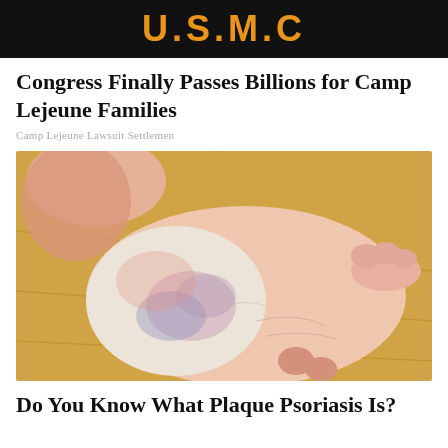U.S.M.C
Congress Finally Passes Billions for Camp Lejeune Families
Camp Lejeune Lawsuit Settlemen
[Figure (photo): Close-up photograph of a human foot showing the sole and ankle area with visible skin condition, redness and discoloration suggesting psoriasis or similar dermatological condition, resting on a wooden floor surface]
Do You Know What Plaque Psoriasis Is?